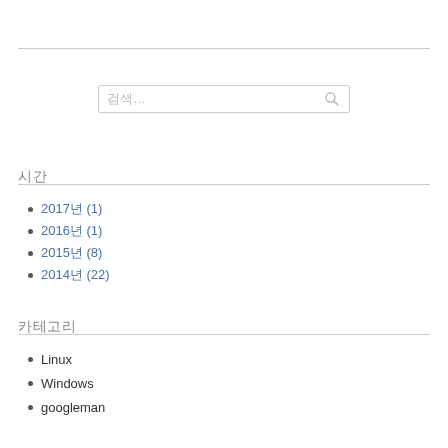[Figure (other): Search input box with placeholder text and search icon]
시간
2017년 (1)
2016년 (1)
2015년 (8)
2014년 (22)
카테고리
Linux
Windows
googleman